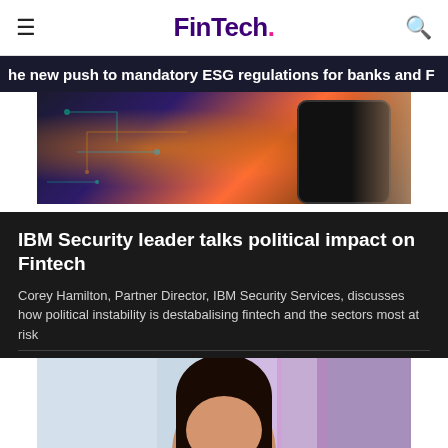FinTech.
he new push to mandatory ESG regulations for banks and F
[Figure (photo): Technology/fintech themed image showing a hand holding a smartphone with glowing circuit-board urban background]
IBM Security leader talks political impact on Fintech
Corey Hamilton, Partner Director, IBM Security Services, discusses how political instability is destabalising fintech and the sectors most at risk
[Figure (photo): Portrait photo of a young woman with dark hair smiling, purple background suggesting a professional/conference setting]